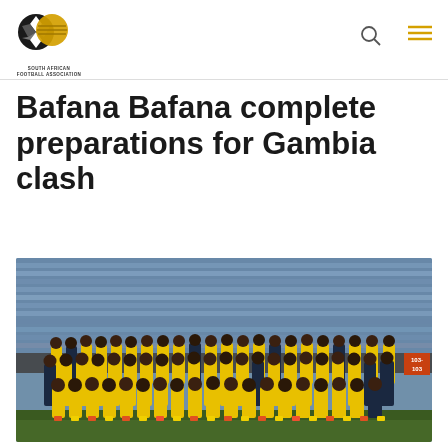South African Football Association
Bafana Bafana complete preparations for Gambia clash
[Figure (photo): Group photo of the Bafana Bafana squad posing in three rows at a stadium, wearing yellow jerseys with navy tracksuits, with blue stadium seats visible in the background]